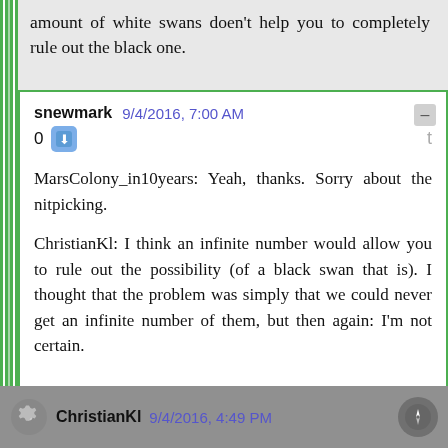amount of white swans doen't help you to completely rule out the black one.
snewmark   9/4/2016, 7:00 AM
0
MarsColony_in10years: Yeah, thanks. Sorry about the nitpicking.

ChristianKl: I think an infinite number would allow you to rule out the possibility (of a black swan that is). I thought that the problem was simply that we could never get an infinite number of them, but then again: I'm not certain.
ChristianKl   9/4/2016, 4:49 PM
0